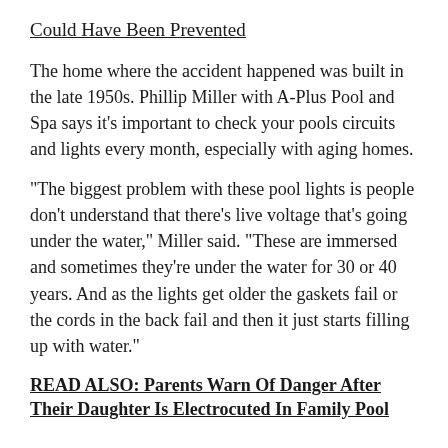Could Have Been Prevented
The home where the accident happened was built in the late 1950s. Phillip Miller with A-Plus Pool and Spa says it's important to check your pools circuits and lights every month, especially with aging homes.
"The biggest problem with these pool lights is people don't understand that there's live voltage that's going under the water," Miller said. "These are immersed and sometimes they're under the water for 30 or 40 years. And as the lights get older the gaskets fail or the cords in the back fail and then it just starts filling up with water."
READ ALSO: Parents Warn Of Danger After Their Daughter Is Electrocuted In Family Pool